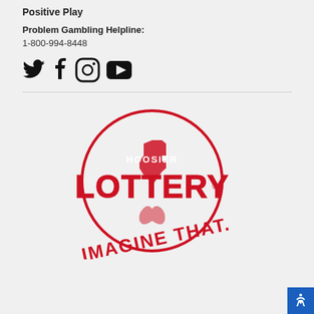Positive Play
Problem Gambling Helpline:
1-800-994-8448
[Figure (infographic): Social media icons: Twitter, Facebook, Instagram, YouTube]
[Figure (logo): Hoosier Lottery logo with 'IMAGINE THAT.' tagline in red]